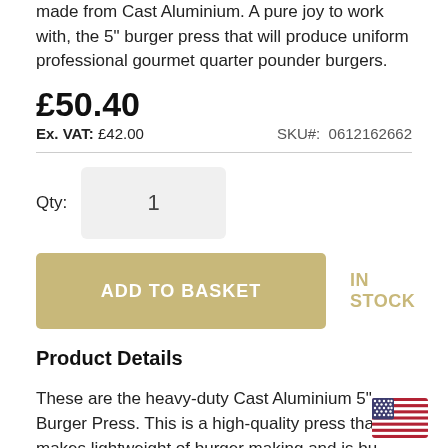made from Cast Aluminium. A pure joy to work with, the 5" burger press that will produce uniform professional gourmet quarter pounder burgers.
£50.40
Ex. VAT: £42.00   SKU#: 0612162662
Qty: 1
ADD TO BASKET
IN STOCK
Product Details
These are the heavy-duty Cast Aluminium 5" Burger Press. This is a high-quality press that makes lightweight of burger making and is bu... to with top large of burger and With a 5"...